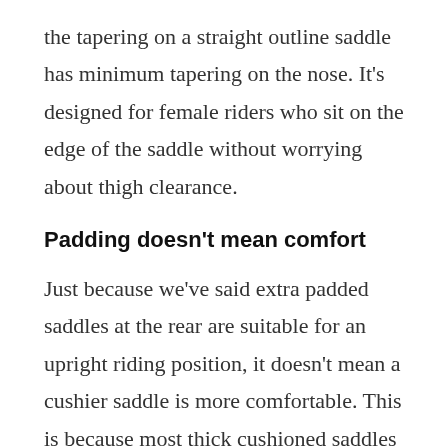the tapering on a straight outline saddle has minimum tapering on the nose. It's designed for female riders who sit on the edge of the saddle without worrying about thigh clearance.
Padding doesn't mean comfort
Just because we've said extra padded saddles at the rear are suitable for an upright riding position, it doesn't mean a cushier saddle is more comfortable. This is because most thick cushioned saddles will strain the soft tissue and cause all sorts of